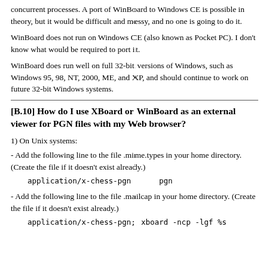concurrent processes. A port of WinBoard to Windows CE is possible in theory, but it would be difficult and messy, and no one is going to do it.
WinBoard does not run on Windows CE (also known as Pocket PC). I don't know what would be required to port it.
WinBoard does run well on full 32-bit versions of Windows, such as Windows 95, 98, NT, 2000, ME, and XP, and should continue to work on future 32-bit Windows systems.
[B.10] How do I use XBoard or WinBoard as an external viewer for PGN files with my Web browser?
1) On Unix systems:
- Add the following line to the file .mime.types in your home directory. (Create the file if it doesn't exist already.)
application/x-chess-pgn      pgn
- Add the following line to the file .mailcap in your home directory. (Create the file if it doesn't exist already.)
application/x-chess-pgn; xboard -ncp -lgf %s